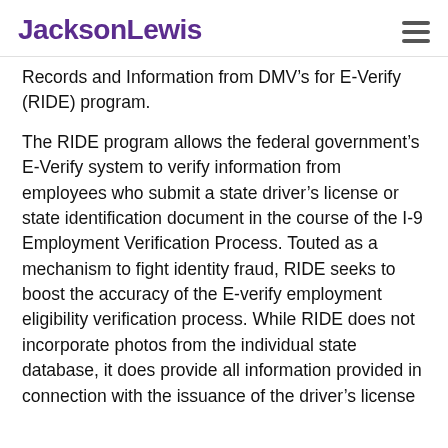JacksonLewis
Records and Information from DMV's for E-Verify (RIDE) program.
The RIDE program allows the federal government's E-Verify system to verify information from employees who submit a state driver's license or state identification document in the course of the I-9 Employment Verification Process. Touted as a mechanism to fight identity fraud, RIDE seeks to boost the accuracy of the E-verify employment eligibility verification process. While RIDE does not incorporate photos from the individual state database, it does provide all information provided in connection with the issuance of the driver's license